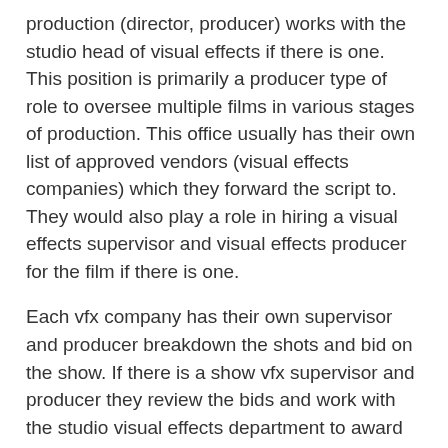production (director, producer) works with the studio head of visual effects if there is one. This position is primarily a producer type of role to oversee multiple films in various stages of production. This office usually has their own list of approved vendors (visual effects companies) which they forward the script to. They would also play a role in hiring a visual effects supervisor and visual effects producer for the film if there is one.
Each vfx company has their own supervisor and producer breakdown the shots and bid on the show. If there is a show vfx supervisor and producer they review the bids and work with the studio visual effects department to award the work to different companies.
Pre-production
The supervisor works closely with the director to get a sense of what the director is looking for on each sequence and each shot. This is done by employing concept artists, storyboard artists and previs artists to create visual guides. The idea is to solidify the vision of the director and allow the supervisor to work out the technical aspects of completing